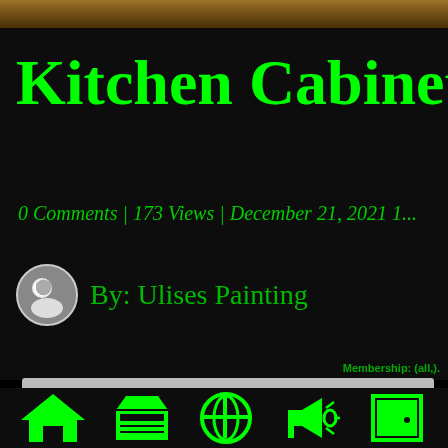[Figure (screenshot): Top decorative wooden bar image at the top of the page]
Kitchen Cabinets M
0 Comments | 173 Views | December 21, 2021 1...
By: Ulises Painting
Membership: (all,).
[Figure (infographic): Bottom navigation bar with green icons: home, store, grid/apps, ads megaphone, door/exit]